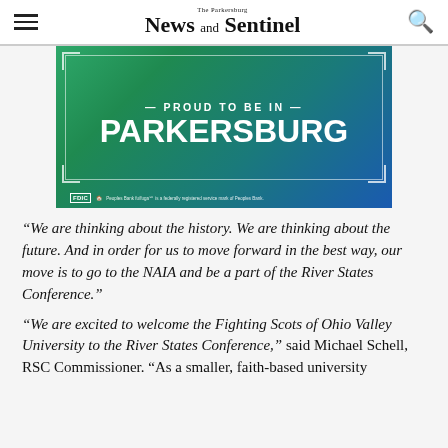The Parkersburg News and Sentinel
[Figure (illustration): Advertisement banner with green-to-blue gradient reading 'PROUD TO BE IN PARKERSBURG' with FDIC and Peoples Bank logos at the bottom]
“We are thinking about the history. We are thinking about the future. And in order for us to move forward in the best way, our move is to go to the NAIA and be a part of the River States Conference.”
“We are excited to welcome the Fighting Scots of Ohio Valley University to the River States Conference,” said Michael Schell, RSC Commissioner. “As a smaller, faith-based university